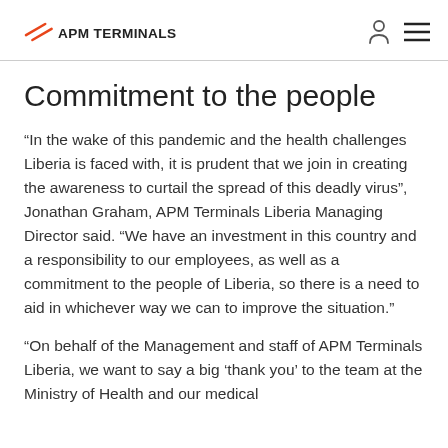APM TERMINALS
Commitment to the people
“In the wake of this pandemic and the health challenges Liberia is faced with, it is prudent that we join in creating the awareness to curtail the spread of this deadly virus”, Jonathan Graham, APM Terminals Liberia Managing Director said. “We have an investment in this country and a responsibility to our employees, as well as a commitment to the people of Liberia, so there is a need to aid in whichever way we can to improve the situation.”
“On behalf of the Management and staff of APM Terminals Liberia, we want to say a big ‘thank you’ to the team at the Ministry of Health and our medical